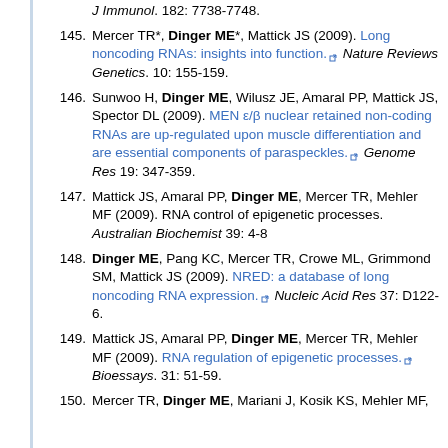J Immunol. 182: 7738-7748.
145. Mercer TR*, Dinger ME*, Mattick JS (2009). Long noncoding RNAs: insights into function. Nature Reviews Genetics. 10: 155-159.
146. Sunwoo H, Dinger ME, Wilusz JE, Amaral PP, Mattick JS, Spector DL (2009). MEN ε/β nuclear retained non-coding RNAs are up-regulated upon muscle differentiation and are essential components of paraspeckles. Genome Res 19: 347-359.
147. Mattick JS, Amaral PP, Dinger ME, Mercer TR, Mehler MF (2009). RNA control of epigenetic processes. Australian Biochemist 39: 4-8
148. Dinger ME, Pang KC, Mercer TR, Crowe ML, Grimmond SM, Mattick JS (2009). NRED: a database of long noncoding RNA expression. Nucleic Acid Res 37: D122-6.
149. Mattick JS, Amaral PP, Dinger ME, Mercer TR, Mehler MF (2009). RNA regulation of epigenetic processes. Bioessays. 31: 51-59.
150. Mercer TR, Dinger ME, Mariani J, Kosik KS, Mehler MF,